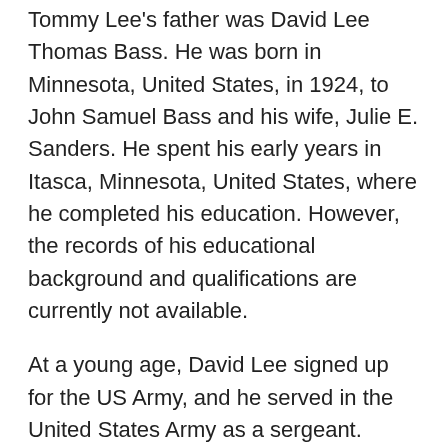Tommy Lee's father was David Lee Thomas Bass. He was born in Minnesota, United States, in 1924, to John Samuel Bass and his wife, Julie E. Sanders. He spent his early years in Itasca, Minnesota, United States, where he completed his education. However, the records of his educational background and qualifications are currently not available.
At a young age, David Lee signed up for the US Army, and he served in the United States Army as a sergeant. According to Tommy Lee, his father fought in World War II and the Korean war. Not much is known about his father's time in the US Army, but how Tommy talks about him shows they had a great bond.